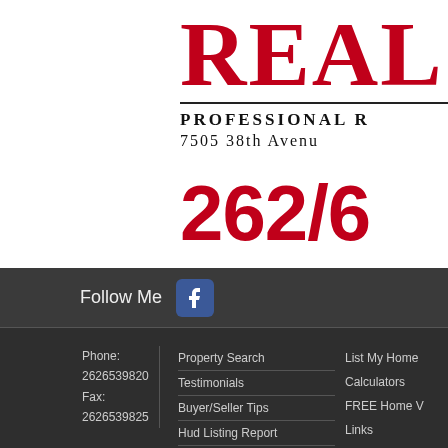[Figure (logo): Partial real estate company logo showing 'REAL' in large red serif letters with horizontal underline, 'PROFESSIONAL R...' subtitle, '7505 38th Avenu...' address, and '262/6...' phone number in large red digits]
Follow Me
Phone: 2626539820
Fax: 2626539825
Property Search
Testimonials
Buyer/Seller Tips
Hud Listing Report
Open House
List My Home
Calculators
FREE Home V...
Links
Kenosha New...